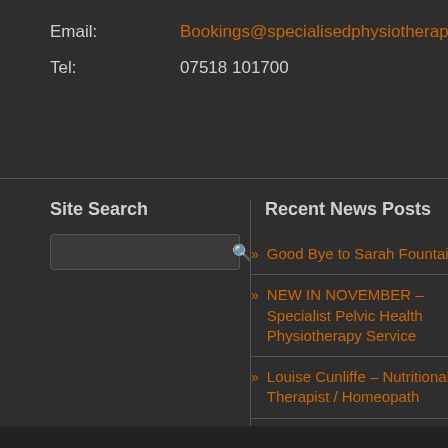Email: Bookings@specialisedphysiotherapy.com
Tel: 07518 101700
Site Search
Recent News Posts
Good Bye to Sarah Fountain
NEW IN NOVEMBER – Specialist Pelvic Health Physiotherapy Service
Louise Cunliffe – Nutritional Therapist / Homeopath